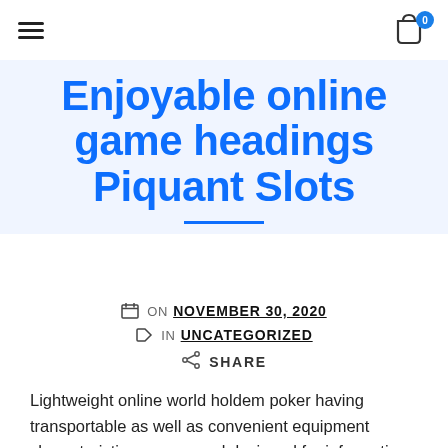≡  [cart icon] 0
Enjoyable online game headings Piquant Slots
ON NOVEMBER 30, 2020  IN UNCATEGORIZED  SHARE
Lightweight online world holdem poker having transportable as well as convenient equipment characteristics was around designed for informative